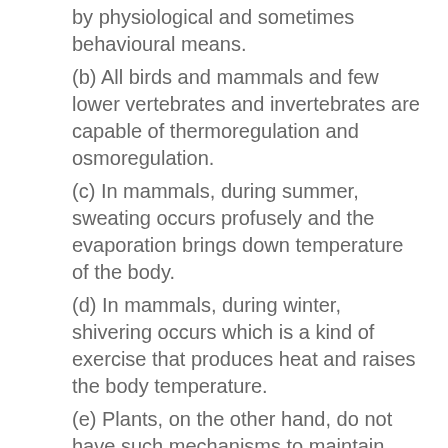by physiological and sometimes behavioural means.
(b) All birds and mammals and few lower vertebrates and invertebrates are capable of thermoregulation and osmoregulation.
(c) In mammals, during summer, sweating occurs profusely and the evaporation brings down temperature of the body.
(d) In mammals, during winter, shivering occurs which is a kind of exercise that produces heat and raises the body temperature.
(e) Plants, on the other hand, do not have such mechanisms to maintain their internal temperature.
Conform
(a) About 99% of animals and almost all plants cannot maintain a constant internal